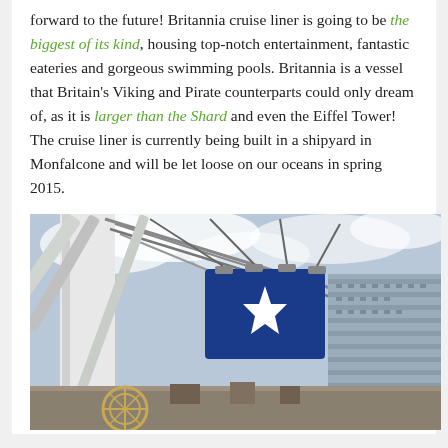forward to the future! Britannia cruise liner is going to be the biggest of its kind, housing top-notch entertainment, fantastic eateries and gorgeous swimming pools. Britannia is a vessel that Britain's Viking and Pirate counterparts could only dream of, as it is larger than the Shard and even the Eiffel Tower! The cruise liner is currently being built in a shipyard in Monfalcone and will be let loose on our oceans in spring 2015.
[Figure (photo): Construction photo of a large cruise ship being built in a shipyard, showing massive cranes lifting a blue funnel section with a white star/compass rose logo, with the multi-deck ship hull visible in the background under a cloudy sky.]